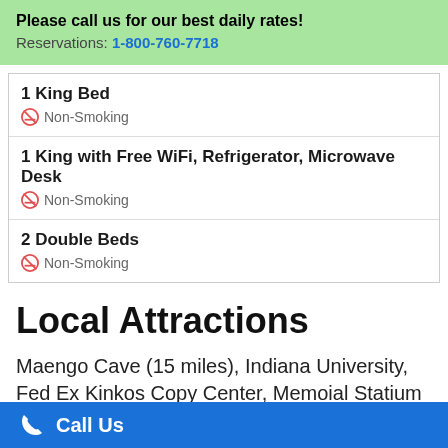Please call us for our best daily rates!
Reservations: 1-800-760-7718
1 King Bed
Non-Smoking
1 King with Free WiFi, Refrigerator, Microwave Desk
Non-Smoking
2 Double Beds
Non-Smoking
Local Attractions
Maengo Cave (15 miles), Indiana University, Fed Ex Kinkos Copy Center, Memoial Statium Football (3 miles), Little Nashville (14 miles), Blue Canoeing (15
Call Us